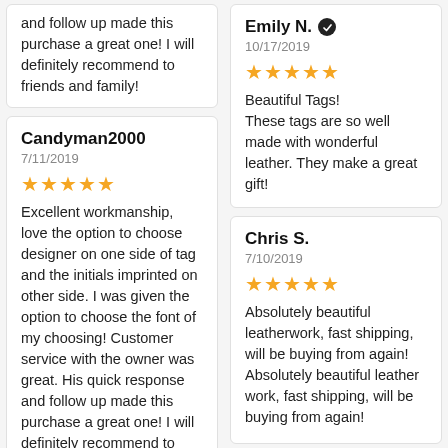and follow up made this purchase a great one! I will definitely recommend to friends and family!
Candyman2000
7/11/2019
★★★★★
Excellent workmanship, love the option to choose designer on one side of tag and the initials imprinted on other side. I was given the option to choose the font of my choosing! Customer service with the owner was great. His quick response and follow up made this purchase a great one! I will definitely recommend to friends and family!
Emily N. ✔
10/17/2019
★★★★★
Beautiful Tags! These tags are so well made with wonderful leather. They make a great gift!
Chris S.
7/10/2019
★★★★★
Absolutely beautiful leatherwork, fast shipping, will be buying from again! Absolutely beautiful leather work, fast shipping, will be buying from again!